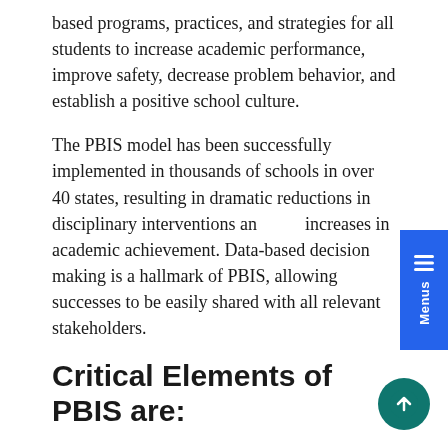based programs, practices, and strategies for all students to increase academic performance, improve safety, decrease problem behavior, and establish a positive school culture.
The PBIS model has been successfully implemented in thousands of schools in over 40 states, resulting in dramatic reductions in disciplinary interventions and increases in academic achievement. Data-based decision making is a hallmark of PBIS, allowing successes to be easily shared with all relevant stakeholders.
Critical Elements of PBIS are:
Careful acknowledgement, consideration, and achievement of outcomes that are valued by